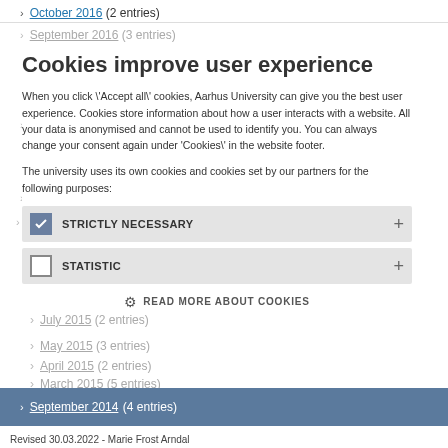October 2016 (2 entries)
September 2016 (3 entries)
Cookies improve user experience
August 2016 (3 entries)
When you click \'Accept all\' cookies, Aarhus University can give you the best user experience. Cookies store information about how a user interacts with a website. All your data is anonymised and cannot be used to identify you. You can always change your consent again under \'Cookies\' in the website footer.
May 2016 (1 entry)
2015
August 2015 (1 entry)
The university uses its own cookies and cookies set by our partners for the following purposes:
July 2015 (2 entries)
May 2015 (3 entries)
STRICTLY NECESSARY
April 2015 (2 entries)
STATISTIC
March 2015 (5 entries)
February 2015 (4 entries)
2014
READ MORE ABOUT COOKIES
September 2014 (4 entries)
Revised 30.03.2022 - Marie Frost Arndal